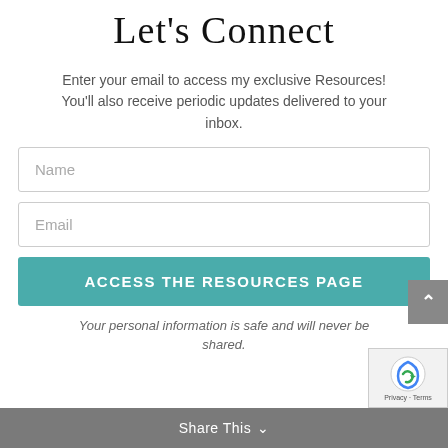Let's Connect
Enter your email to access my exclusive Resources! You'll also receive periodic updates delivered to your inbox.
Name
Email
ACCESS THE RESOURCES PAGE
Your personal information is safe and will never be shared.
Share This